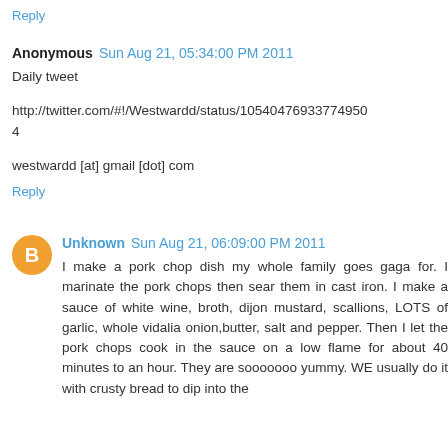Reply
Anonymous  Sun Aug 21, 05:34:00 PM 2011
Daily tweet
http://twitter.com/#!/Westwardd/status/105404769337749504
westwardd [at] gmail [dot] com
Reply
Unknown  Sun Aug 21, 06:09:00 PM 2011
I make a pork chop dish my whole family goes gaga for. I marinate the pork chops then sear them in cast iron. I make a sauce of white wine, broth, dijon mustard, scallions, LOTS of garlic, whole vidalia onion,butter, salt and pepper. Then I let the pork chops cook in the sauce on a low flame for about 40 minutes to an hour. They are sooooooo yummy. WE usually do it with crusty bread to dip into the